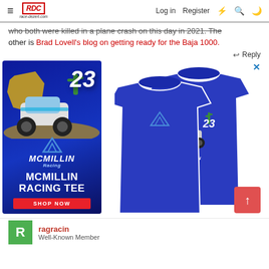≡ RDC race-dezert.com | Log in  Register ⚡ 🔍 🌙
who both were killed in a plane crash on this day in 2021. The other is Brad Lovell's blog on getting ready for the Baja 1000.
↩ Reply
[Figure (illustration): McMillin Racing Tee advertisement showing a monster truck #23 on a desert landscape with cactus and Baja California map shape, blue background, McMillin Racing logo with triangles, text MCMILLIN RACING TEE and SHOP NOW button in red]
[Figure (illustration): Blue t-shirt shown front and back, with McMillin Racing #23 monster truck graphic on the back and small triangle logo on the front chest]
ragracin
Well-Known Member